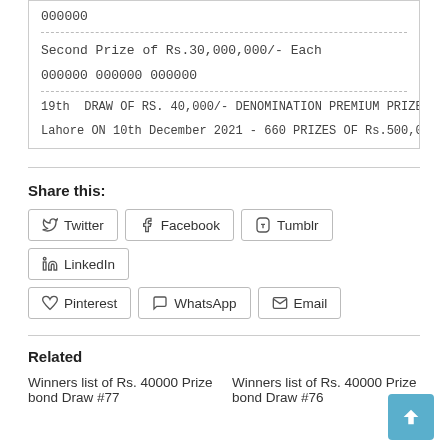000000
Second Prize of Rs.30,000,000/- Each
000000 000000 000000
19th  DRAW OF RS. 40,000/- DENOMINATION PREMIUM PRIZE BONDS (
Lahore ON 10th December 2021 - 660 PRIZES OF Rs.500,000/- EAC
Share this:
Twitter
Facebook
Tumblr
LinkedIn
Pinterest
WhatsApp
Email
Related
Winners list of Rs. 40000 Prize bond Draw #77
Winners list of Rs. 40000 Prize bond Draw #76